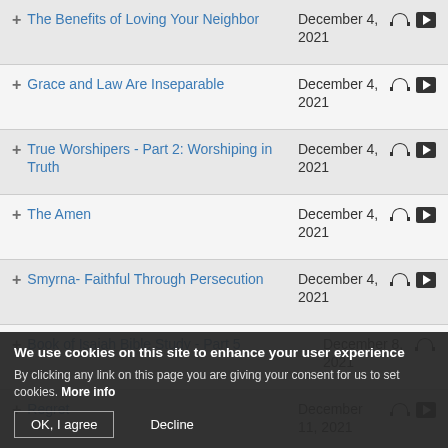+ The Benefits of Loving Your Neighbor | December 4, 2021
+ Grace and Law Are Inseparable | December 4, 2021
+ True Worshipers - Part 2: Worshiping in Truth | December 4, 2021
+ The Amen | December 4, 2021
+ Smyrna- Faithful Through Persecution | December 4, 2021
+ Book of Isaiah Bible Study - Part 5 | December 8, 2021
+ Regret | December 11, 2021
+ What Is the Hope in Us that Anchors Us in the Rough Waters of Life? | December 11, 2021
We use cookies on this site to enhance your user experience
By clicking any link on this page you are giving your consent for us to set cookies. More info
OK, I agree | Decline